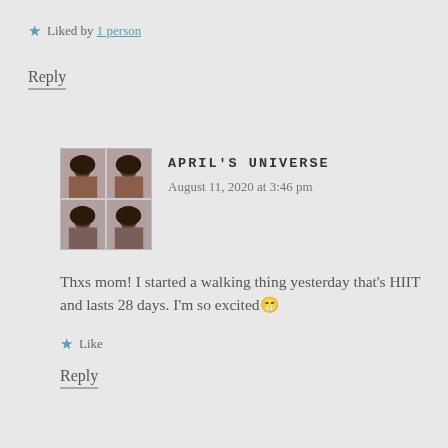★ Liked by 1 person
Reply
[Figure (photo): 2x2 grid of portrait photos of a person with curly hair]
APRIL'S UNIVERSE
August 11, 2020 at 3:46 pm
Thxs mom! I started a walking thing yesterday that's HIIT and lasts 28 days. I'm so excited 😁
★ Like
Reply